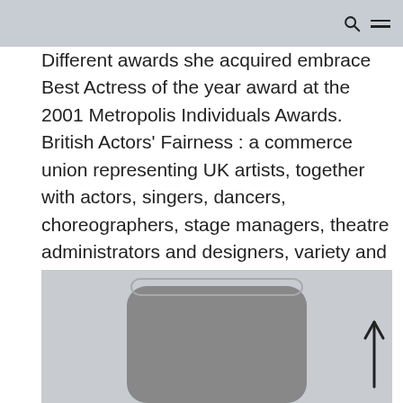Different awards she acquired embrace Best Actress of the year award at the 2001 Metropolis Individuals Awards. British Actors' Fairness : a commerce union representing UK artists, together with actors, singers, dancers, choreographers, stage managers, theatre administrators and designers, variety and circus artists, tv and radio presenters, stroll-on and supporting artists, stunt performers and directors and theatre battle administrators.
[Figure (photo): Partially visible photo or illustration showing a dark rounded rectangular shape emerging from the bottom against a light grey background. An upward arrow icon is visible at the bottom right.]